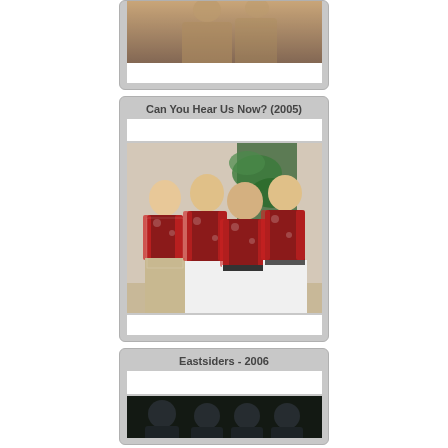[Figure (photo): Partial top photo, sepia-toned, showing figures in period clothing]
Can You Hear Us Now? (2005)
[Figure (photo): Four men in matching red Hawaiian/floral shirts and white pants posed together indoors with a tropical plant in background]
Eastsiders - 2006
[Figure (photo): Partial photo showing a group of people in dark setting]